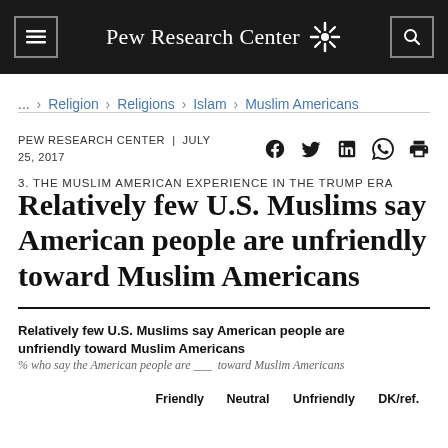Pew Research Center
... > Religion > Religions > Islam > Muslim Americans
PEW RESEARCH CENTER | JULY 25, 2017
3. THE MUSLIM AMERICAN EXPERIENCE IN THE TRUMP ERA
Relatively few U.S. Muslims say American people are unfriendly toward Muslim Americans
Relatively few U.S. Muslims say American people are unfriendly toward Muslim Americans
% who say the American people are ___ toward Muslim Americans
|  | Friendly | Neutral | Unfriendly | DK/ref. |
| --- | --- | --- | --- | --- |